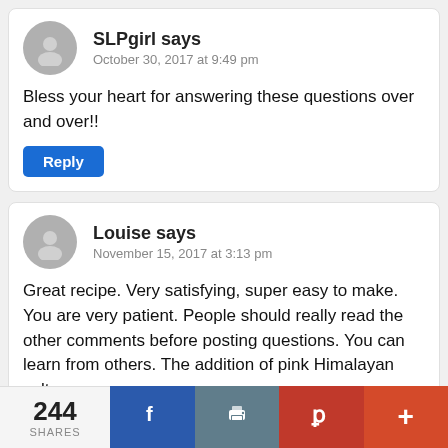SLPgirl says
October 30, 2017 at 9:49 pm
Bless your heart for answering these questions over and over!!
Reply
Louise says
November 15, 2017 at 3:13 pm
Great recipe. Very satisfying, super easy to make. You are very patient. People should really read the other comments before posting questions. You can learn from others. The addition of pink Himalayan salt was a
244 SHARES